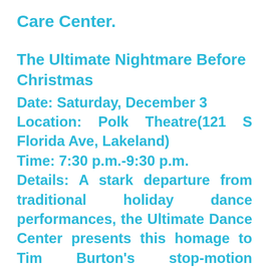Care Center.
The Ultimate Nightmare Before Christmas
Date: Saturday, December 3
Location: Polk Theatre(121 S Florida Ave, Lakeland)
Time: 7:30 p.m.-9:30 p.m.
Details: A stark departure from traditional holiday dance performances, the Ultimate Dance Center presents this homage to Tim Burton's stop-motion animation film